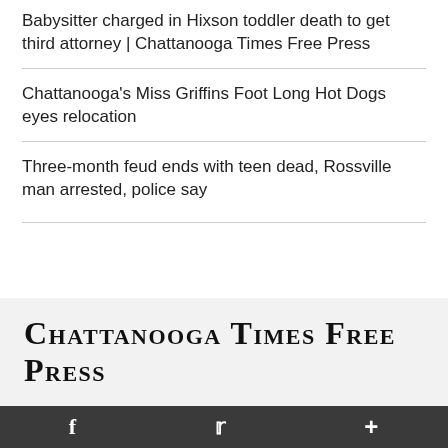Babysitter charged in Hixson toddler death to get third attorney | Chattanooga Times Free Press
Chattanooga's Miss Griffins Foot Long Hot Dogs eyes relocation
Three-month feud ends with teen dead, Rossville man arrested, police say
[Figure (logo): Chattanooga Times Free Press logo in blackletter/gothic typeface]
News
f  [twitter bird]  +